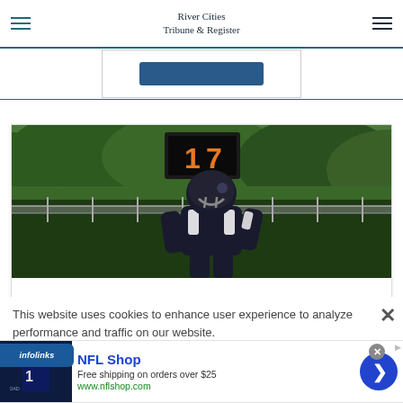River Cities Tribune & Register
[Figure (photo): Football player wearing dark uniform and helmet (#17 visible on scoreboard in background) on a field with green trees and chain-link fence]
This website uses cookies to enhance user experience to analyze performance and traffic on our website.
[Figure (infographic): NFL Shop advertisement: jersey image, 'NFL Shop', 'Free shipping on orders over $25', 'www.nflshop.com', navigation arrow button]